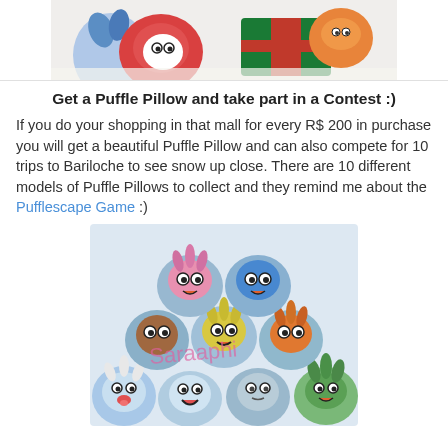[Figure (photo): Top portion of a photo showing colorful plush Puffle toys/pillows — blue, red, orange characters against a white/snowy background. The image is cropped at the top.]
Get a Puffle Pillow and take part in a Contest :)
If you do your shopping in that mall for every R$ 200 in purchase you will get a beautiful Puffle Pillow and can also compete for 10 trips to Bariloche to see snow up close. There are 10 different models of Puffle Pillows to collect and they remind me about the Pufflescape Game :)
[Figure (photo): A pyramid arrangement of 10 round Puffle Pillow plushies — blue circular pillows each featuring a different colorful Puffle character face (pink, blue, brown, yellow, orange, white, grey, green). Watermark text 'Saraaphi' appears in pink across the middle of the image.]